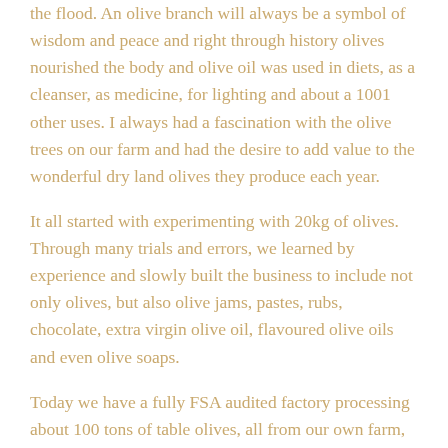the flood. An olive branch will always be a symbol of wisdom and peace and right through history olives nourished the body and olive oil was used in diets, as a cleanser, as medicine, for lighting and about a 1001 other uses. I always had a fascination with the olive trees on our farm and had the desire to add value to the wonderful dry land olives they produce each year.
It all started with experimenting with 20kg of olives. Through many trials and errors, we learned by experience and slowly built the business to include not only olives, but also olive jams, pastes, rubs, chocolate, extra virgin olive oil, flavoured olive oils and even olive soaps.
Today we have a fully FSA audited factory processing about 100 tons of table olives, all from our own farm, as well as producing our own olive oils. We are passionate about each of our products and making sure they are of the highest quality is very important to us.
I will always live by the motto of only producing products that I love to use in my own kitchen and serve to my own family and